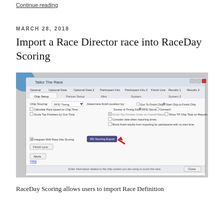Continue reading
MARCH 28, 2018
Import a Race Director race into RaceDay Scoring
[Figure (screenshot): Screenshot of a 'Tailor The Race' dialog box in Race Director software showing chip setup options, with an arrow pointing to the 'RD Scoring Export' button. The dialog has tabs: General, Optional Data, Optional Data 2, Participant Info, Participant Info 2, Finish Line, Results 1, Results 2. Sub-tabs include Chip Setup, Partner Setup, Misc, System, System 2. Options shown include Chip Scoring set to 'RFID Timing', Determine finish position by options, Source of Timing Data, and checkboxes for Calculate Pace, Score Top Finishers, Force Top Finisher Order, Show TP Chip Time on Reports, Consider date when importing times, Block finish results. At bottom: Integrate With Race Day Scoring checkbox and 'RD Scoring Export' button highlighted with red arrow, Finish Lynx button, Alerts button, Help link, Close button.]
RaceDay Scoring allows users to import Race Definition